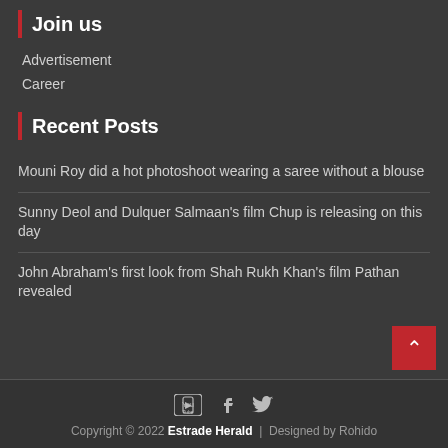Join us
Advertisement
Career
Recent Posts
Mouni Roy did a hot photoshoot wearing a saree without a blouse
Sunny Deol and Dulquer Salmaan's film Chup is releasing on this day
John Abraham's first look from Shah Rukh Khan's film Pathan revealed
Copyright © 2022 Estrade Herald | Designed by Rohido